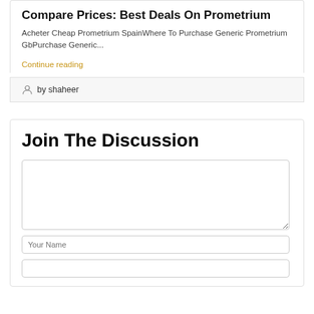Compare Prices: Best Deals On Prometrium
Acheter Cheap Prometrium SpainWhere To Purchase Generic Prometrium GbPurchase Generic...
Continue reading
by shaheer
Join The Discussion